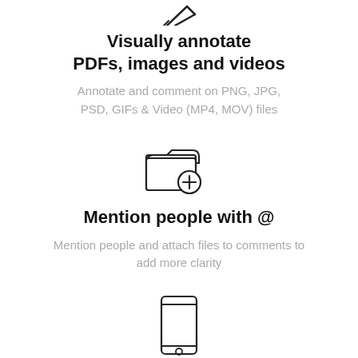[Figure (illustration): Partial icon at top (pen/annotation tool) — cropped at top edge]
Visually annotate PDFs, images and videos
Annotate and comment on PNG, JPG, PSD, GIFs & Video (MP4, MOV) files
[Figure (illustration): Folder with a plus sign icon]
Mention people with @
Mention people and attach files to comments to add more clarity
[Figure (illustration): Mobile phone / smartphone icon]
Get things done on mobile (partially visible, cut off at bottom)